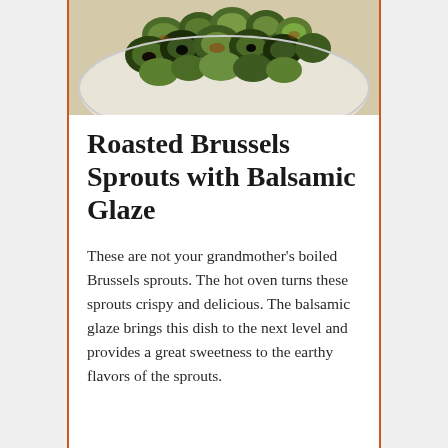[Figure (photo): Close-up photo of roasted Brussels sprouts on a white plate, caramelized and golden-brown with dark edges, served as a dish]
Roasted Brussels Sprouts with Balsamic Glaze
These are not your grandmother's boiled Brussels sprouts. The hot oven turns these sprouts crispy and delicious. The balsamic glaze brings this dish to the next level and provides a great sweetness to the earthy flavors of the sprouts.